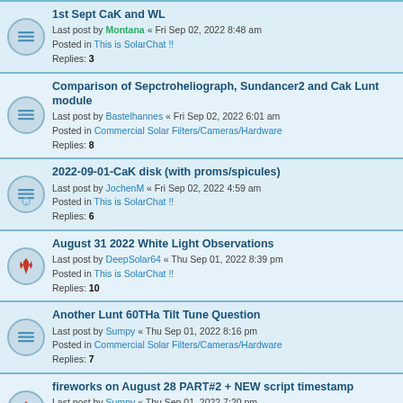1st Sept CaK and WL
Last post by Montana « Fri Sep 02, 2022 8:48 am
Posted in This is SolarChat !!
Replies: 3
Comparison of Sepctroheliograph, Sundancer2 and Cak Lunt module
Last post by Bastelhannes « Fri Sep 02, 2022 6:01 am
Posted in Commercial Solar Filters/Cameras/Hardware
Replies: 8
2022-09-01-CaK disk (with proms/spicules)
Last post by JochenM « Fri Sep 02, 2022 4:59 am
Posted in This is SolarChat !!
Replies: 6
August 31 2022 White Light Observations
Last post by DeepSolar64 « Thu Sep 01, 2022 8:39 pm
Posted in This is SolarChat !!
Replies: 10
Another Lunt 60THa Tilt Tune Question
Last post by Sumpy « Thu Sep 01, 2022 8:16 pm
Posted in Commercial Solar Filters/Cameras/Hardware
Replies: 7
fireworks on August 28 PART#2 + NEW script timestamp
Last post by Sumpy « Thu Sep 01, 2022 7:20 pm
Posted in This is SolarChat !!
Replies: 19
Sun on 2022-08-30
Last post by Sumpy « Thu Sep 01, 2022 7:05 pm
Posted in This is SolarChat !!
Replies: 8